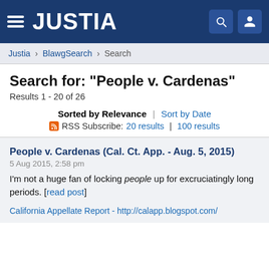JUSTIA
Justia > BlawgSearch > Search
Search for: "People v. Cardenas"
Results 1 - 20 of 26
Sorted by Relevance | Sort by Date
RSS Subscribe: 20 results | 100 results
People v. Cardenas (Cal. Ct. App. - Aug. 5, 2015)
5 Aug 2015, 2:58 pm
I'm not a huge fan of locking people up for excruciatingly long periods. [read post]
California Appellate Report - http://calapp.blogspot.com/